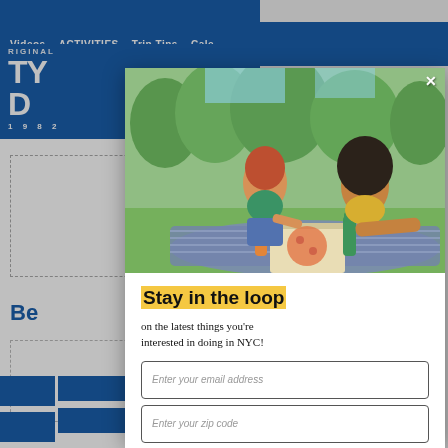ORIGINAL | Videos | ACTIVITIES | Trip Tips | Cale...
[Figure (screenshot): Background website with blue header/logo area showing partial NYC guide branding with year 1982, navigation bar with Videos, ACTIVITIES, Trip Tips, Cale... text, and partial page content with 'Be' text visible]
[Figure (photo): Two women sitting on a blanket in a park (likely Washington Square Park NYC) on a sunny day, one with red hair wearing green top, one with natural afro wearing yellow top, pizza box and drinks between them]
Stay in the loop
on the latest things you're interested in doing in NYC!
Enter your email address
Enter your zip code